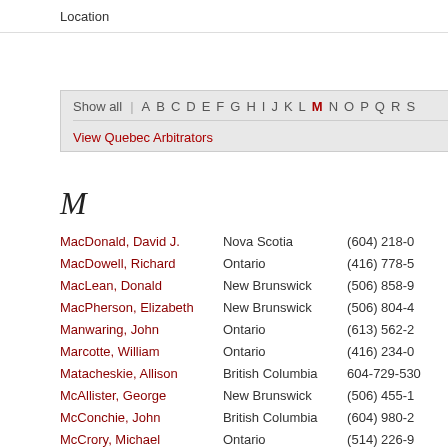Location
Show all | A B C D E F G H I J K L M N O P Q R S
View Quebec Arbitrators
M
| Name | Province | Phone |
| --- | --- | --- |
| MacDonald, David J. | Nova Scotia | (604) 218-0… |
| MacDowell, Richard | Ontario | (416) 778-5… |
| MacLean, Donald | New Brunswick | (506) 858-9… |
| MacPherson, Elizabeth | New Brunswick | (506) 804-4… |
| Manwaring, John | Ontario | (613) 562-2… |
| Marcotte, William | Ontario | (416) 234-0… |
| Matacheskie, Allison | British Columbia | 604-729-530… |
| McAllister, George | New Brunswick | (506) 455-1… |
| McConchie, John | British Columbia | (604) 980-2… |
| McCrory, Michael | Ontario | (514) 226-9… |
| McEvoy, John | New Brunswick | (506) 453-4… |
| McFetridge, Q.C., William D. | Alberta | (403) 455-1… |
| McLaren, Richard | Ontario | (519) 679-1… |
| McNamee, John | Ontario | (416) 825-7… |
| McPhillips, David | British Columbia | 604-220-95… |